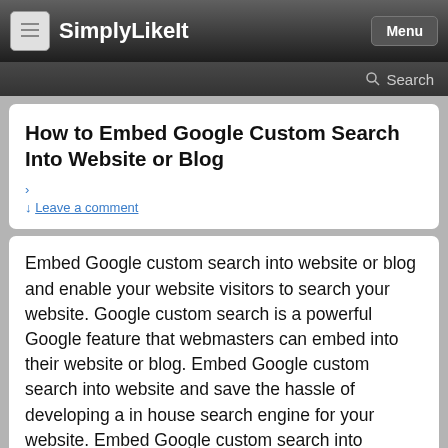SimplyLikeIt  Menu
Search
How to Embed Google Custom Search Into Website or Blog
› ↓ Leave a comment
Embed Google custom search into website or blog and enable your website visitors to search your website. Google custom search is a powerful Google feature that webmasters can embed into their website or blog. Embed Google custom search into website and save the hassle of developing a in house search engine for your website. Embed Google custom search into website or blog and leverage Google's powerful search technology to power search on your website. If you want to embed Google Custom Search into Website or blog, follow the simple steps outlined below.
How to Embed Google Custom Search Into Website